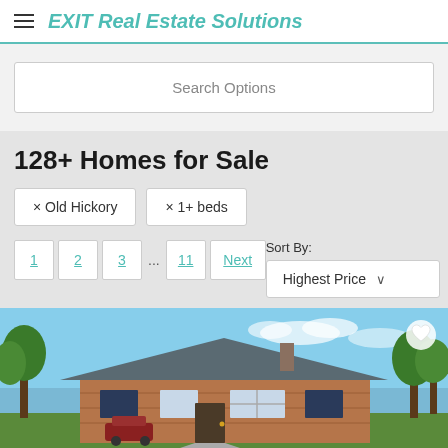EXIT Real Estate Solutions
Search Options
128+ Homes for Sale
× Old Hickory
× 1+ beds
1 2 3 ... 11 Next
Sort By: Highest Price
[Figure (photo): Exterior photo of a single-story brick ranch home with green lawn, trees, and blue sky in the background]